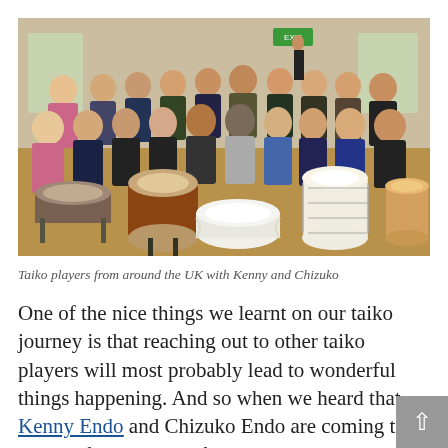[Figure (photo): Group photo of taiko players from around the UK with Kenny and Chizuko Endo, all posing behind various taiko drums in a community hall.]
Taiko players from around the UK with Kenny and Chizuko
One of the nice things we learnt on our taiko journey is that reaching out to other taiko players will most probably lead to wonderful things happening. And so when we heard that Kenny Endo and Chizuko Endo are coming to Europe for a couple of months we immediately